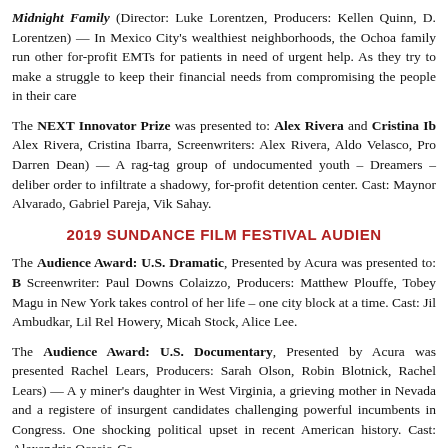Midnight Family (Director: Luke Lorentzen, Producers: Kellen Quinn, D. Lorentzen) — In Mexico City's wealthiest neighborhoods, the Ochoa family run other for-profit EMTs for patients in need of urgent help. As they try to make a struggle to keep their financial needs from compromising the people in their care
The NEXT Innovator Prize was presented to: Alex Rivera and Cristina Ib... Alex Rivera, Cristina Ibarra, Screenwriters: Alex Rivera, Aldo Velasco, Pro... Darren Dean) — A rag-tag group of undocumented youth – Dreamers – deliber... order to infiltrate a shadowy, for-profit detention center. Cast: Maynor Alvarado, Gabriel Pareja, Vik Sahay.
2019 SUNDANCE FILM FESTIVAL AUDIEN
The Audience Award: U.S. Dramatic, Presented by Acura was presented to: B... Screenwriter: Paul Downs Colaizzo, Producers: Matthew Plouffe, Tobey Magu... in New York takes control of her life – one city block at a time. Cast: Jil... Ambudkar, Lil Rel Howery, Micah Stock, Alice Lee.
The Audience Award: U.S. Documentary, Presented by Acura was presented... Rachel Lears, Producers: Sarah Olson, Robin Blotnick, Rachel Lears) — A y... miner's daughter in West Virginia, a grieving mother in Nevada and a registere... of insurgent candidates challenging powerful incumbents in Congress. One... shocking political upset in recent American history. Cast: Alexandria Ocasio-Co
The Audience Award: World Cinema Dramatic was presented to: Queen of... Toukhy, Screenwriters: Maren Louise Käehne, May el-Toukhy, Producers: Car... jeopardizes both her career and her family when she seduces her teenage stepso